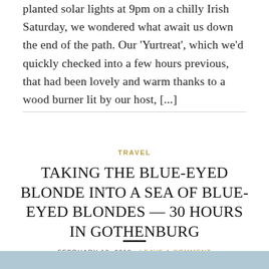planted solar lights at 9pm on a chilly Irish Saturday, we wondered what await us down the end of the path. Our 'Yurtreat', which we'd quickly checked into a few hours previous, that had been lovely and warm thanks to a wood burner lit by our host, [...]
TRAVEL
TAKING THE BLUE-EYED BLONDE INTO A SEA OF BLUE-EYED BLONDES — 30 HOURS IN GOTHENBURG
FEBRUARY 13, 2018   LEAVE A COMMENT